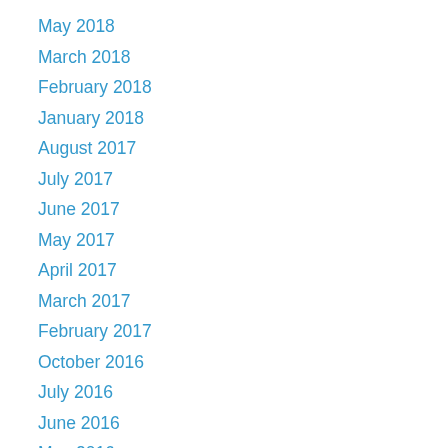May 2018
March 2018
February 2018
January 2018
August 2017
July 2017
June 2017
May 2017
April 2017
March 2017
February 2017
October 2016
July 2016
June 2016
May 2016
April 2016
March 2016
February 2016
January 2016
December 2015